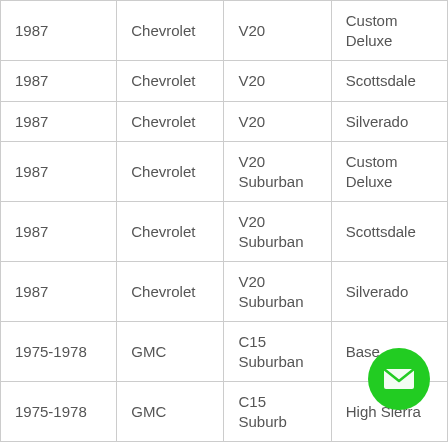| 1987 | Chevrolet | V20 | Custom Deluxe |
| 1987 | Chevrolet | V20 | Scottsdale |
| 1987 | Chevrolet | V20 | Silverado |
| 1987 | Chevrolet | V20 Suburban | Custom Deluxe |
| 1987 | Chevrolet | V20 Suburban | Scottsdale |
| 1987 | Chevrolet | V20 Suburban | Silverado |
| 1975-1978 | GMC | C15 Suburban | Base |
| 1975-1978 | GMC | C15 Suburban | High Sierra |